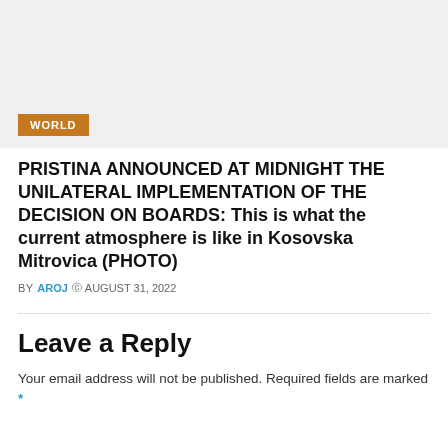[Figure (photo): Light gray placeholder image area with a 'WORLD' category badge in brown/orange at the bottom left]
PRISTINA ANNOUNCED AT MIDNIGHT THE UNILATERAL IMPLEMENTATION OF THE DECISION ON BOARDS: This is what the current atmosphere is like in Kosovska Mitrovica (PHOTO)
BY AROJ  © AUGUST 31, 2022
Leave a Reply
Your email address will not be published. Required fields are marked *